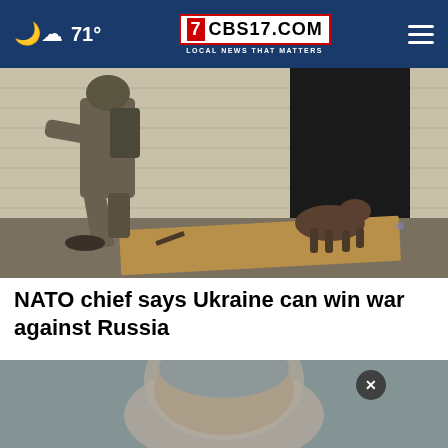71° | CBS17.COM LOCAL NEWS THAT MATTERS
[Figure (photo): A soldier in military fatigues and gear moves near a brick building with a dark doorway, with a German Shepherd dog nearby and debris on the ground.]
NATO chief says Ukraine can win war against Russia
[Figure (photo): Close-up photo of a man's face, partially visible, with a gray/shaved head.]
[Figure (other): Advertisement overlay: THESHELTERPETPROJECT.ORG with ad council logos and a close (x) button.]